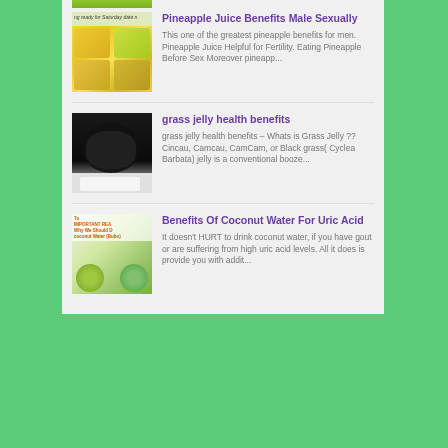[Figure (photo): Partial thumbnail of green fruits at top of page]
[Figure (photo): Small banner strip with text 'getting ready for Saturday date night']
Pineapple Juice Benefits Male Sexually
[Figure (photo): Thumbnail showing pineapple and pineapple juice images collage]
This one of the greatest pineapple benefits for men. Pineapple Juice Helpful for Fertility. Eating Pineapple Before Sex Moreover pineapp...
grass jelly health benefits
[Figure (photo): Thumbnail showing grass jelly (black jelly) in a white bowl]
grass jelly health benefits – Whats is Grass Jelly ?? Cincau, Camcau, CamCam, or Black grass( Cyclea Barbata) jelly is a conventional booze...
Benefits Of Coconut Water For Uric Acid
[Figure (photo): Thumbnail showing coconut water with text overlay about important reasons why we should drink coconut water]
It doesn't HURT to drink coconut water, if you have gout or are suffering from high uric acid levels. All it does is provide you with addit...